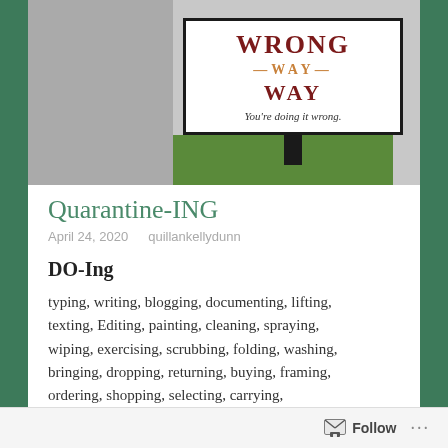[Figure (photo): Photo of a 'WRONG WAY – You're doing it wrong.' sign on a post, with road/pavement on the left and grass at the bottom, blue container visible at right edge.]
Quarantine-ING
April 24, 2020   quillankellydunn
DO-Ing
typing, writing, blogging, documenting, lifting, texting, Editing, painting, cleaning, spraying, wiping, exercising, scrubbing, folding, washing, bringing, dropping, returning, buying, framing, ordering, shopping, selecting, carrying, drinking, posting, networking, punching,
Follow ...